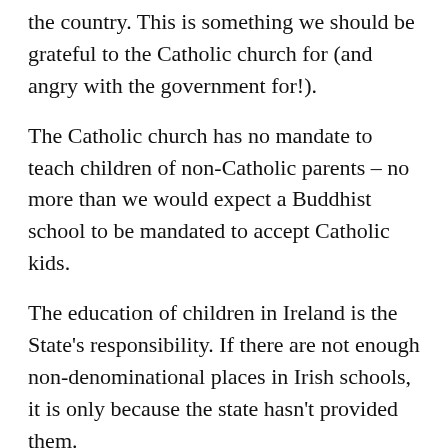the country. This is something we should be grateful to the Catholic church for (and angry with the government for!).
The Catholic church has no mandate to teach children of non-Catholic parents – no more than we would expect a Buddhist school to be mandated to accept Catholic kids.
The education of children in Ireland is the State's responsibility. If there are not enough non-denominational places in Irish schools, it is only because the state hasn't provided them.
The running of the schools in Ireland by the Catholic church is an anachronism.